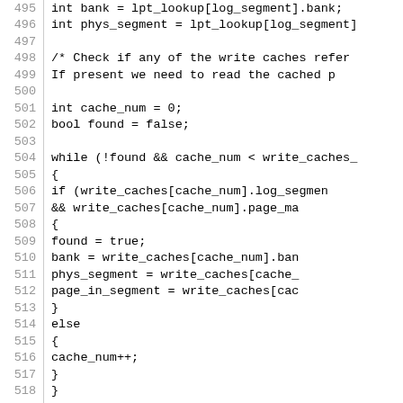[Figure (other): Source code listing lines 495-524 showing C/C++ code for reading NAND flash sectors with write cache lookup logic]